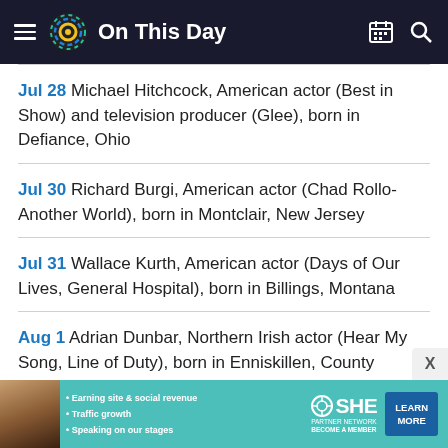On This Day
Jul 28 Michael Hitchcock, American actor (Best in Show) and television producer (Glee), born in Defiance, Ohio
Jul 30 Richard Burgi, American actor (Chad Rollo-Another World), born in Montclair, New Jersey
Jul 31 Wallace Kurth, American actor (Days of Our Lives, General Hospital), born in Billings, Montana
Aug 1 Adrian Dunbar, Northern Irish actor (Hear My Song, Line of Duty), born in Enniskillen, County Fermanagh, Northern Ireland
[Figure (infographic): SHE Partner Network advertisement banner with bullet points: Earning site & social revenue, Traffic growth, Speaking on our stages. Includes LEARN MORE button.]